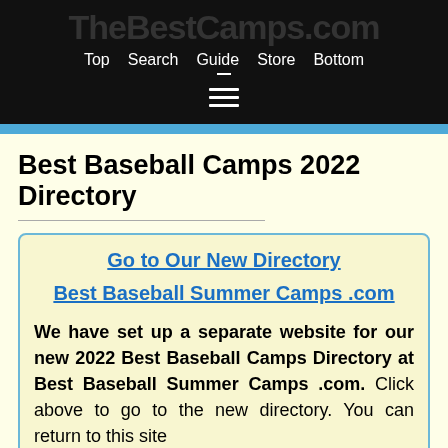TheBestCamps.com — Top | Search | Guide | Store | Bottom
Best Baseball Camps 2022 Directory
Go to Our New Directory
Best Baseball Summer Camps .com
We have set up a separate website for our new 2022 Best Baseball Camps Directory at Best Baseball Summer Camps .com. Click above to go to the new directory. You can return to this site